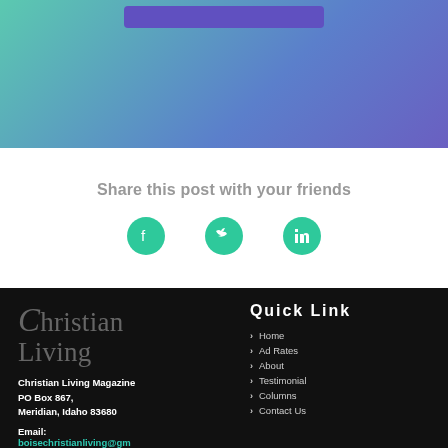[Figure (other): Top banner with gradient background (teal to purple) and a dark purple button at the top]
Share this post with your friends
[Figure (infographic): Three circular teal social media icons: Facebook, Twitter, LinkedIn]
[Figure (logo): Christian Living magazine logo in grey serif font on black background]
Christian Living Magazine
PO Box 867,
Meridian, Idaho 83680
Email: boisechristianliving@gmail.com Phone: 208-703-7860
Quick Link
Home
Ad Rates
About
Testimonial
Columns
Contact Us